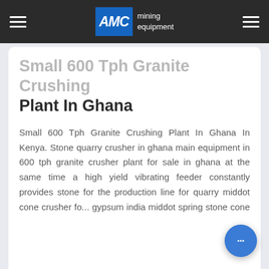AMC mining equipment
Small 600 Tph Granite Crushing Plant In Ghana
Small 600 Tph Granite Crushing Plant In Ghana In Kenya. Stone quarry crusher in ghana main equipment in 600 tph granite crusher plant for sale in ghana at the same time a high yield vibrating feeder constantly provides stone for the production line for quarry middot cone crusher fo... gypsum india middot spring stone cone crusher